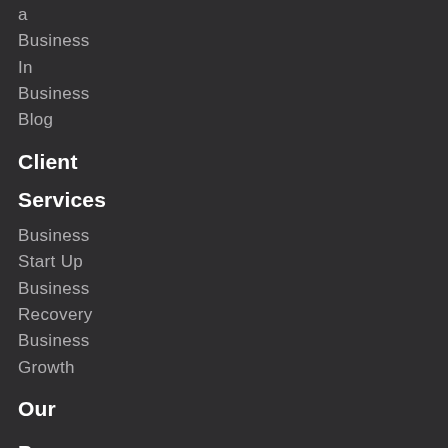a
Business
In
Business
Blog
Client
Services
Business
Start Up
Business
Recovery
Business
Growth
Our
Programs